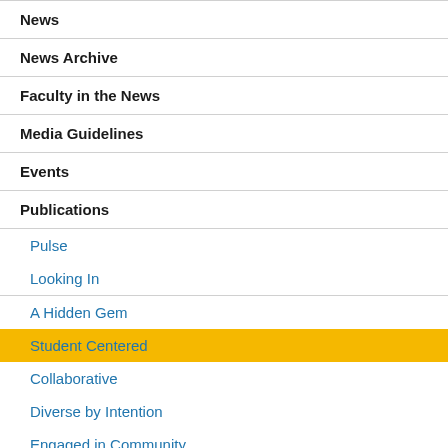News
News Archive
Faculty in the News
Media Guidelines
Events
Publications
Pulse
Looking In
A Hidden Gem
Student Centered
Collaborative
Diverse by Intention
Engaged in Community
Committed to Mentoring